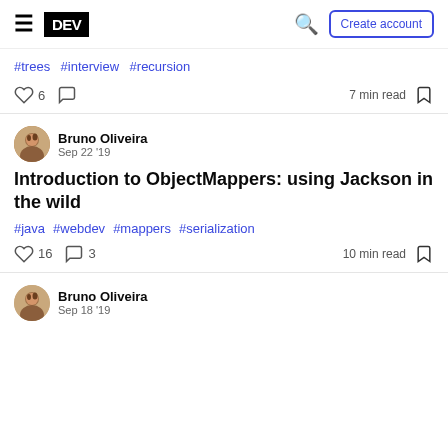DEV — Create account
#trees #interview #recursion
6 reactions, comments, 7 min read
Bruno Oliveira Sep 22 '19
Introduction to ObjectMappers: using Jackson in the wild
#java #webdev #mappers #serialization
16 reactions, 3 comments, 10 min read
Bruno Oliveira Sep 18 '19